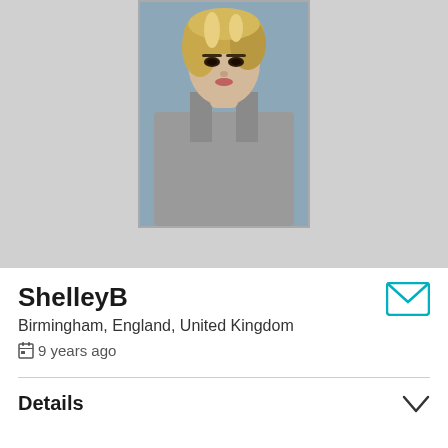[Figure (photo): Profile photo of ShelleyB — a blonde woman wearing a grey tank top, looking downward, dark eye makeup, blurred background]
ShelleyB
Birmingham, England, United Kingdom
9 years ago
Details